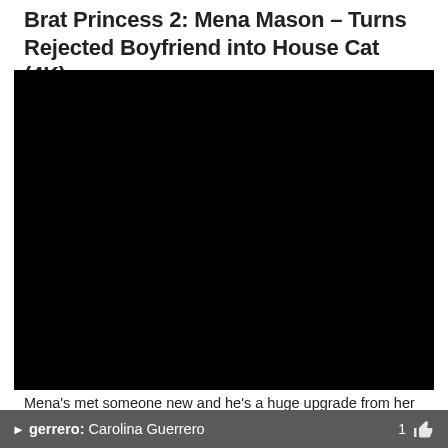Brat Princess 2: Mena Mason – Turns Rejected Boyfriend into House Cat (4K)
[Figure (screenshot): Black video player area embedded in a webpage]
Mena's met someone new and he's a huge upgrade from her current boyfriend in just about every possible way. She decides to dump her current boyfriend so that she can replace him with this new, much
gerrero: Carolina Guerrero  1